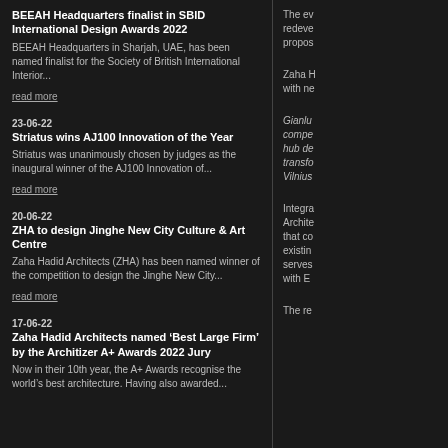BEEAH Headquarters finalist in SBID International Design Awards 2022
BEEAH Headquarters in Sharjah, UAE, has been named finalist for the Society of British International Interior...
read more
23-06-22
Striatus wins AJ100 Innovation of the Year
Striatus was unanimously chosen by judges as the inaugural winner of the AJ100 Innovation of...
read more
20-06-22
ZHA to design Jinghe New City Culture & Art Centre
Zaha Hadid Architects (ZHA) has been named winner of the competition to design the Jinghe New City...
read more
17-06-22
Zaha Hadid Architects named ‘Best Large Firm’ by the Architizer A+ Awards 2022 Jury
Now in their 10th year, the A+ Awards recognise the world's best architecture. Having also awarded...
The ev redeve propos
Zaha H with ne
Gianlu compe hub de transfo Vilnius
Integra Archite that co existin serves with E
The re